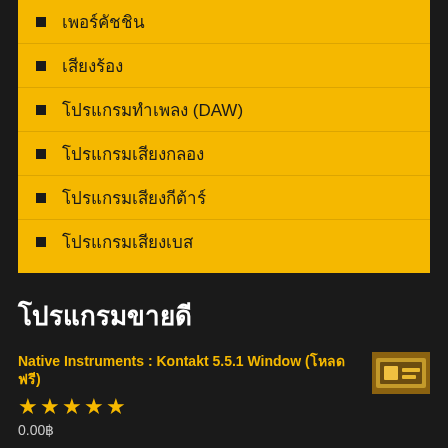เพอร์คัชชิน
เสียงร้อง
โปรแกรมทำเพลง (DAW)
โปรแกรมเสียงกลอง
โปรแกรมเสียงกีต้าร์
โปรแกรมเสียงเบส
โปรแกรมขายดี
Native Instruments : Kontakt 5.5.1 Window (โหลดฟรี)
★★★★★
0.00฿
FL Studio Producer Edition + Signature Bundle v20.7 (Win)